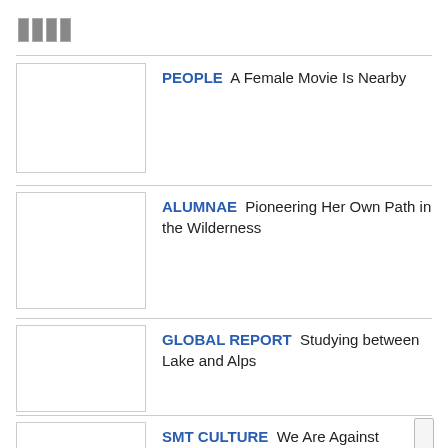[Figure (other): Grid/table icon at top left]
PEOPLE  A Female Movie Is Nearby
ALUMNAE  Pioneering Her Own Path in the Wilderness
GLOBAL REPORT  Studying between Lake and Alps
SMT CULTURE  We Are Against Dictatorship